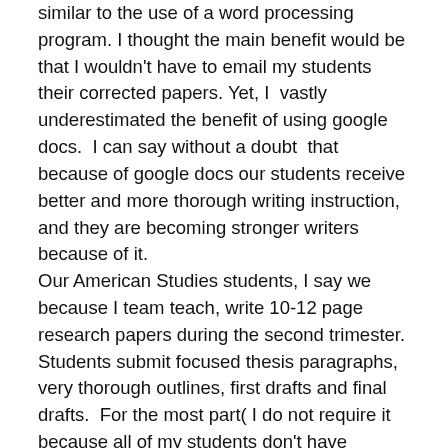similar to the use of a word processing program. I thought the main benefit would be that I wouldn't have to email my students their corrected papers. Yet, I  vastly underestimated the benefit of using google docs.  I can say without a doubt  that because of google docs our students receive better and more thorough writing instruction, and they are becoming stronger writers because of it.
Our American Studies students, I say we because I team teach, write 10-12 page research papers during the second trimester. Students submit focused thesis paragraphs, very thorough outlines, first drafts and final drafts.  For the most part( I do not require it because all of my students don't have internet access at home), students use google docs to submit each part of their papers and I use the comment feature to give them feedback. This lengthy process has been made much richer because of